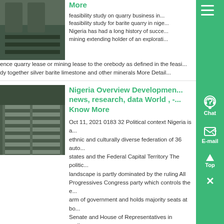[Figure (photo): Industrial/quarry site photo, top left]
More
feasibility study on quarry business in... feasibility study for barite quarry in nige... Nigeria has had a long history of succe... mining extending holder of an explorati...
ence quarry lease or mining lease to the orebody as defined in the feasi... dy together silver barite limestone and other minerals More Detail...
[Figure (photo): Industrial facility photo with conveyor belts or metal racks, second article]
Nigeria Overview Developmen... news, research, data World , -... Know More
Oct 11, 2021 0183 32 Political context Nigeria is a... ethnic and culturally diverse federation of 36 auto... states and the Federal Capital Territory The politic... landscape is partly dominated by the ruling All Progressives Congress party which controls the e... arm of government and holds majority seats at bo... Senate and House of Representatives in parliame...